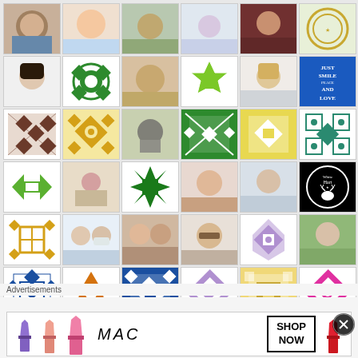[Figure (photo): Grid of user profile thumbnails showing photos of people and colorful quilt/geometric pattern avatars arranged in 7 rows of 6 cells]
Advertisements
[Figure (photo): MAC Cosmetics advertisement banner showing lipsticks in purple, pink and red with MAC logo and SHOP NOW button]